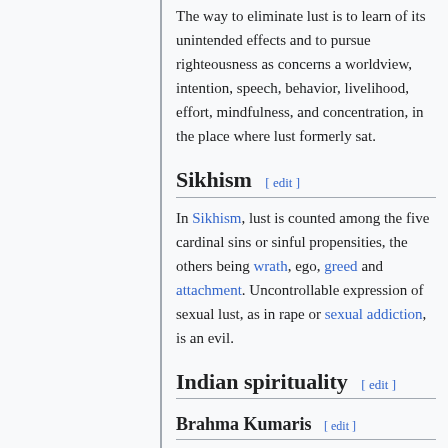The way to eliminate lust is to learn of its unintended effects and to pursue righteousness as concerns a worldview, intention, speech, behavior, livelihood, effort, mindfulness, and concentration, in the place where lust formerly sat.
Sikhism [ edit ]
In Sikhism, lust is counted among the five cardinal sins or sinful propensities, the others being wrath, ego, greed and attachment. Uncontrollable expression of sexual lust, as in rape or sexual addiction, is an evil.
Indian spirituality [ edit ]
Brahma Kumaris [ edit ]
According to Brahma Kumaris, a spiritual organization which is based on Hindu philosophy, sexual